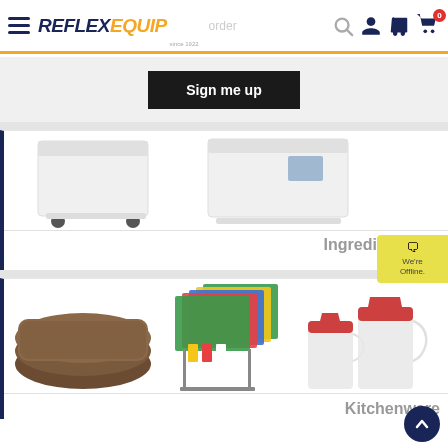Reflex Equip
Sign me up
[Figure (photo): Two white ingredient bins with wheels on a white background]
Ingredient Bins
[Figure (photo): Colored cutting boards on a rack, two clear pitchers with red lids, and a set of brown trays]
Kitchenware